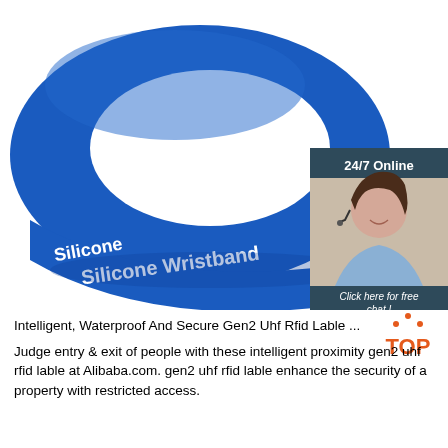[Figure (photo): Blue RFID silicone wristband with white text reading 'Silicone Wristband' on the band, shown on white background. In the bottom-right corner is a chat widget with '24/7 Online' text, a photo of a female customer service agent with headset, 'Click here for free chat!' text, and an orange QUOTATION button.]
Intelligent, Waterproof And Secure Gen2 Uhf Rfid Lable ...
Judge entry & exit of people with these intelligent proximity gen2 uhf rfid lable at Alibaba.com. gen2 uhf rfid lable enhance the security of a property with restricted access.